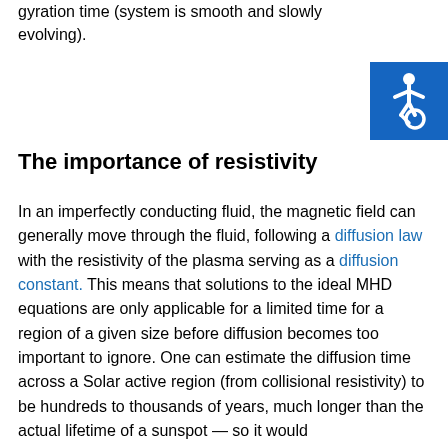gyration time (system is smooth and slowly evolving).
[Figure (other): Wheelchair accessibility icon — white wheelchair symbol on blue background]
The importance of resistivity
In an imperfectly conducting fluid, the magnetic field can generally move through the fluid, following a diffusion law with the resistivity of the plasma serving as a diffusion constant. This means that solutions to the ideal MHD equations are only applicable for a limited time for a region of a given size before diffusion becomes too important to ignore. One can estimate the diffusion time across a Solar active region (from collisional resistivity) to be hundreds to thousands of years, much longer than the actual lifetime of a sunspot — so it would